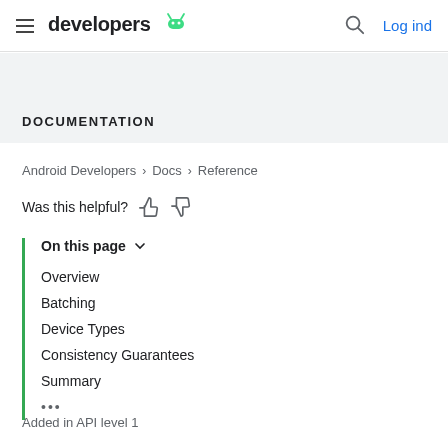developers — Log ind
DOCUMENTATION
Android Developers > Docs > Reference
Was this helpful?
On this page
Overview
Batching
Device Types
Consistency Guarantees
Summary
•••
Added in API level 1